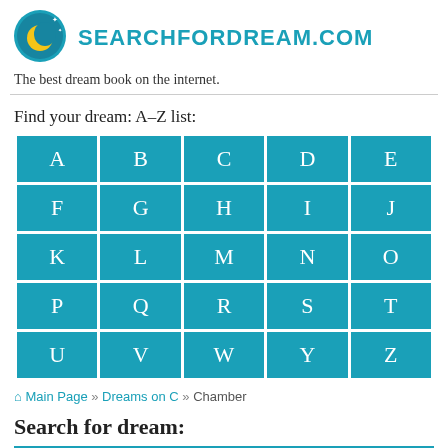SEARCHFORDREAM.COM
The best dream book on the internet.
Find your dream: A–Z list:
| A | B | C | D | E |
| F | G | H | I | J |
| K | L | M | N | O |
| P | Q | R | S | T |
| U | V | W | Y | Z |
🏠 Main Page » Dreams on C » Chamber
Search for dream: